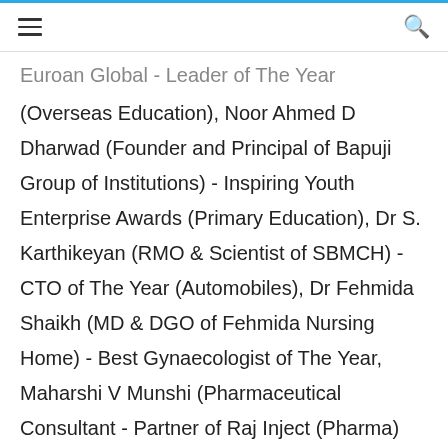☰  🔍
Euroan Global - Leader of The Year (Overseas Education), Noor Ahmed D Dharwad (Founder and Principal of Bapuji Group of Institutions) - Inspiring Youth Enterprise Awards (Primary Education), Dr S. Karthikeyan (RMO & Scientist of SBMCH) - CTO of The Year (Automobiles), Dr Fehmida Shaikh (MD & DGO of Fehmida Nursing Home) - Best Gynaecologist of The Year, Maharshi V Munshi (Pharmaceutical Consultant - Partner of Raj Inject (Pharma) Consultants) - Leading Turnkey